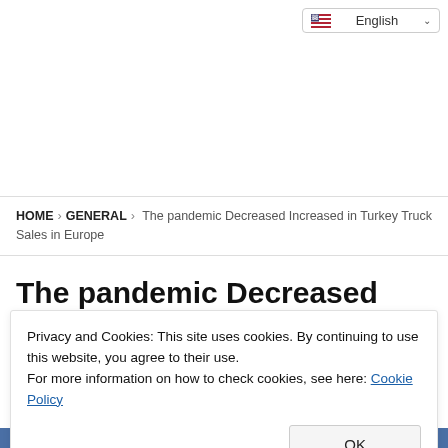English
HOME › GENERAL › The pandemic Decreased Increased in Turkey Truck Sales in Europe
The pandemic Decreased
Privacy and Cookies: This site uses cookies. By continuing to use this website, you agree to their use.
For more information on how to check cookies, see here: Cookie Policy
OK